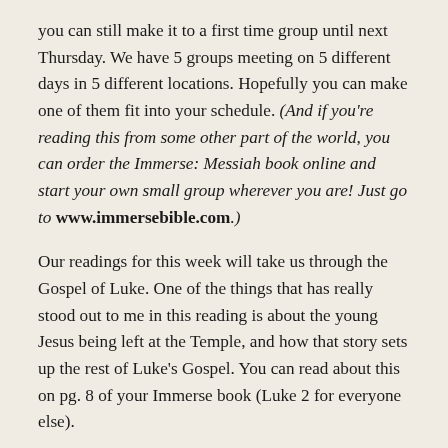you can still make it to a first time group until next Thursday. We have 5 groups meeting on 5 different days in 5 different locations. Hopefully you can make one of them fit into your schedule. (And if you're reading this from some other part of the world, you can order the Immerse: Messiah book online and start your own small group wherever you are! Just go to www.immersebible.com.)
Our readings for this week will take us through the Gospel of Luke. One of the things that has really stood out to me in this reading is about the young Jesus being left at the Temple, and how that story sets up the rest of Luke's Gospel. You can read about this on pg. 8 of your Immerse book (Luke 2 for everyone else).
First the story takes place at the Passover festival. His parents can't find him anywhere on the way home, so they return to Jerusalem to look for him, and finally find him 3 days later at the Temple. Jesus' responded: “But why